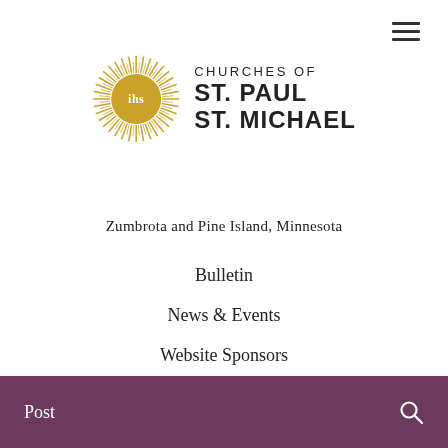[Figure (logo): Churches of St. Paul St. Michael logo with IHS sunburst badge and text]
Zumbrota and Pine Island, Minnesota
Bulletin
News & Events
Website Sponsors
Office & Emergencies Call:
Church of St. Paul – (507) 732-5324
Church of St. Michael – (507) 356-4280
Post